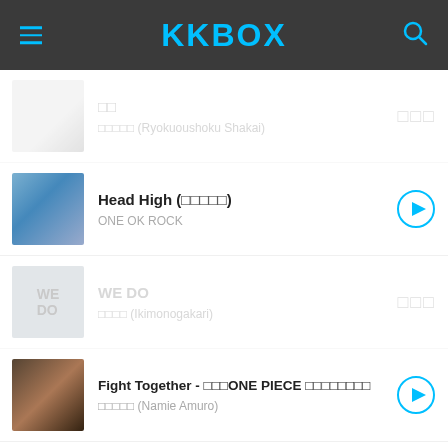KKBOX
□□ / □□□□□ (Ryokuoushoku Shakai)
Head High (□□□□□) / ONE OK ROCK
WE DO / □□□□ (Ikimonogakari)
Fight Together - □□□ONE PIECE □□□□□□□□ / □□□□□ (Namie Amuro)
One day / The ROOTLESS
We Don't Stop / □□□□ (Kana Nishino)
□□□□□